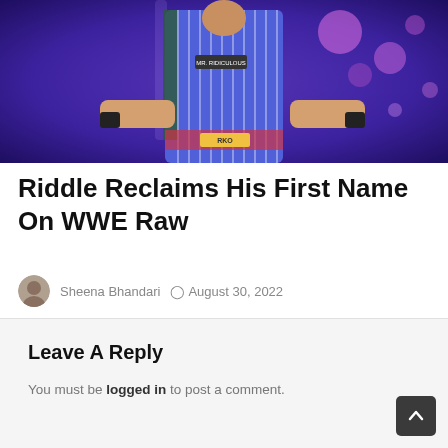[Figure (photo): A wrestler wearing a blue and white pinstripe outfit performing on a WWE stage with purple bokeh lighting in the background]
Riddle Reclaims His First Name On WWE Raw
Sheena Bhandari  August 30, 2022
Leave A Reply
You must be logged in to post a comment.